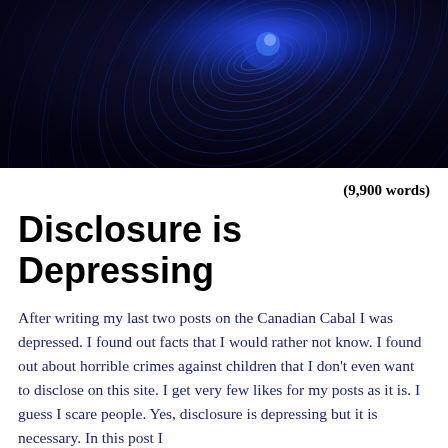[Figure (photo): Blue swirling spiral light trails on dark background, resembling a vortex or wormhole effect]
(9,900 words)
Disclosure is Depressing
After writing my last two posts on the Canadian Cabal I was depressed. I found out facts that I would rather not know. I found out about horrible crimes against children that I don’t even want to disclose on this site. I get very few likes for my posts as it is. I guess I scare people. Yes, disclosure is depressing but it is necessary. In this post I